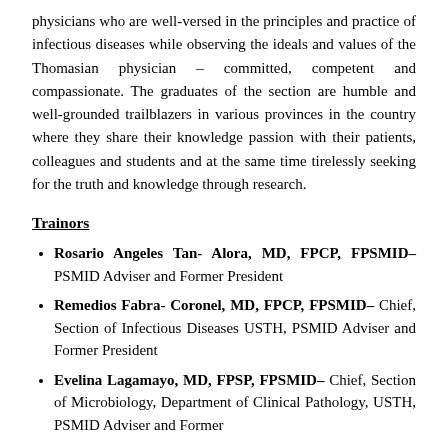physicians who are well-versed in the principles and practice of infectious diseases while observing the ideals and values of the Thomasian physician – committed, competent and compassionate. The graduates of the section are humble and well-grounded trailblazers in various provinces in the country where they share their knowledge passion with their patients, colleagues and students and at the same time tirelessly seeking for the truth and knowledge through research.
Trainors
Rosario Angeles Tan- Alora, MD, FPCP, FPSMID– PSMID Adviser and Former President
Remedios Fabra- Coronel, MD, FPCP, FPSMID– Chief, Section of Infectious Diseases USTH, PSMID Adviser and Former President
Evelina Lagamayo, MD, FPSP, FPSMID– Chief, Section of Microbiology, Department of Clinical Pathology, USTH, PSMID Adviser and Former